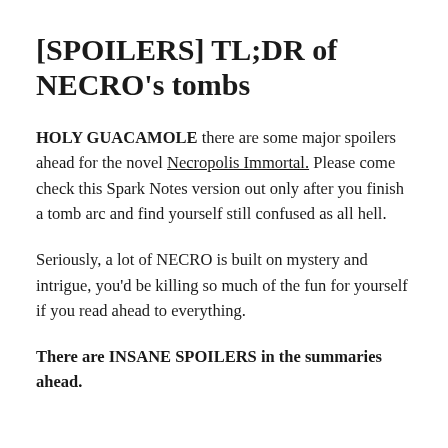[SPOILERS] TL;DR of NECRO's tombs
HOLY GUACAMOLE there are some major spoilers ahead for the novel Necropolis Immortal. Please come check this Spark Notes version out only after you finish a tomb arc and find yourself still confused as all hell.
Seriously, a lot of NECRO is built on mystery and intrigue, you'd be killing so much of the fun for yourself if you read ahead to everything.
There are INSANE SPOILERS in the summaries ahead.